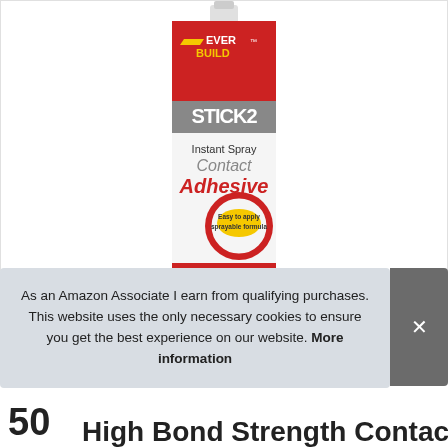[Figure (photo): Everbuild Stick2 Instant Spray Contact Adhesive aerosol can. White can with red top and bottom sections. Red and grey branding. Text: EVER BUILD, STICK2, Instant Spray, Contact Adhesive, Easy to apply sprayable formula, All Purpose High Strength Bond, Bonds Decorative Laminates, Wood, Rigid Pvc, Rubber, Textiles & Metals.]
As an Amazon Associate I earn from qualifying purchases. This website uses the only necessary cookies to ensure you get the best experience on our website. More information
50
High Bond Strength Contact S...